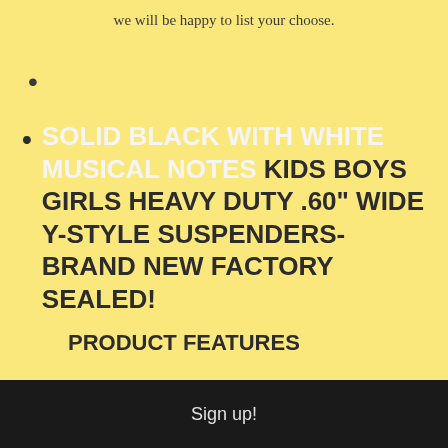we will be happy to list your choose.
SOLID BLACK WITH WHITE MUSICAL NOTES KIDS BOYS GIRLS HEAVY DUTY .60" WIDE Y-STYLE SUSPENDERS-BRAND NEW FACTORY SEALED!
PRODUCT FEATURES
Sign up!